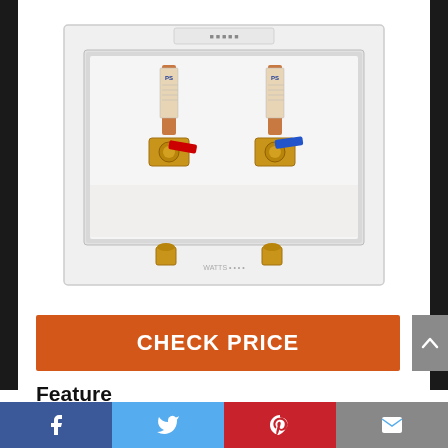[Figure (photo): White recessed washing machine outlet box with two brass ball valves (one with red handle, one with blue handle) and two copper supply pipes labeled PS, mounted in wall box with bottom outlet ports.]
CHECK PRICE
Feature